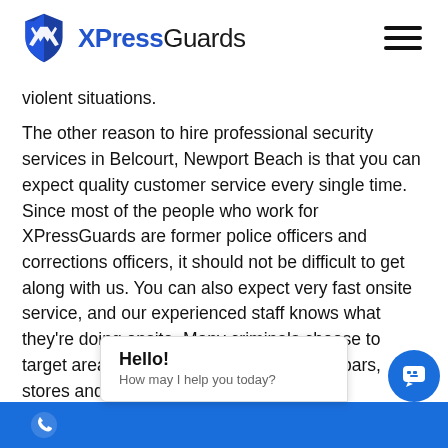XPressGuards
violent situations.
The other reason to hire professional security services in Belcourt, Newport Beach is that you can expect quality customer service every single time. Since most of the people who work for XPressGuards are former police officers and corrections officers, it should not be difficult to get along with us. You can also expect very fast onsite service, and our experienced staff knows what they're doing onsite. Many criminals choose to target areas that have many businesses, bars, stores and other busi
Hello!
How may I help you today?